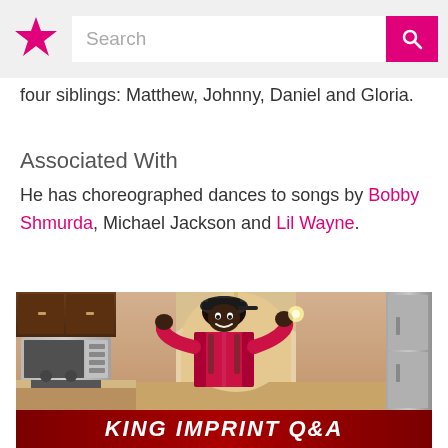Search
four siblings: Matthew, Johnny, Daniel and Gloria.
Associated With
He has choreographed dances to songs by Bobby Shmurda, Michael Jackson and Lil Wayne.
[Figure (photo): Person wearing a pink jacket and backwards cap dancing/posing in a kitchen, with a red banner at the bottom reading KING IMPRINT Q&A]